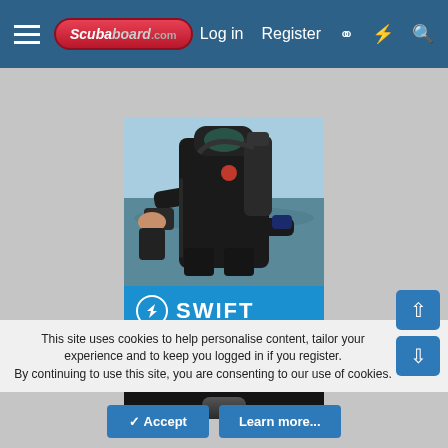ScubaBoard.com — Log in  Register
[Figure (photo): Advertisement for SWIFT Next Gen Smart AI Transmitter by ScubaBoard. Shows a scuba diver in a black wetsuit holding a device, standing near water. Below the photo is a blue banner with SWIFT logo and text, then a black section reading NEXT GEN SMART AI TRANSMITTER with a device at the bottom.]
This site uses cookies to help personalise content, tailor your experience and to keep you logged in if you register.
By continuing to use this site, you are consenting to our use of cookies.
✓ Accept    Learn more...